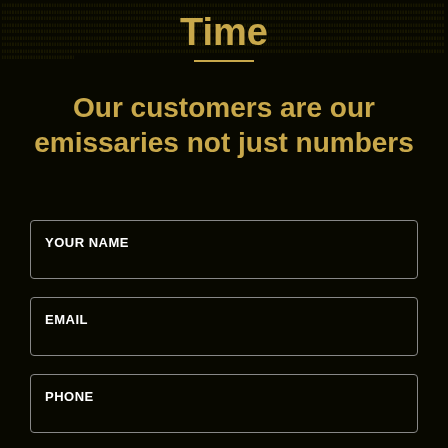Time
Our customers are our emissaries not just numbers
YOUR NAME
EMAIL
PHONE